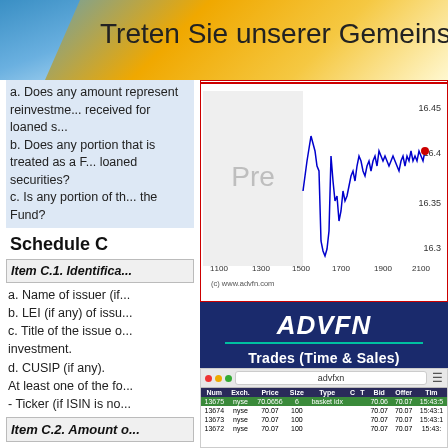[Figure (screenshot): Top banner with gradient background (blue to gold/yellow) and text 'Treten Sie unserer Gemeinschaft' (German text)]
a. Does any amount represent reinvestment received for loaned securities? b. Does any portion that is treated as a Fund for loaned securities? c. Is any portion of the Fund?
[Figure (line-chart): Line chart showing price movements between approximately 1100-2100 on x-axis and 16.3-16.45 on y-axis. Blue line with red dot marker. Gray area showing pre-market. Copyright (c) www.advfn.com]
Schedule C
Item C.1. Identification
a. Name of issuer (if any).
b. LEI (if any) of issuer.
c. Title of the issue or description of the investment.
d. CUSIP (if any).
At least one of the following:
- Ticker (if ISIN is not available).
Item C.2. Amount
[Figure (screenshot): ADVFN logo and Trades (Time & Sales) panel on dark blue background with teal underline]
[Figure (screenshot): ADVFN trades table showing columns: Num, Exch., Price, Size, Type, C, T, Bid, Offer, Time with rows showing trades at nyse for prices around 70.06-70.07]